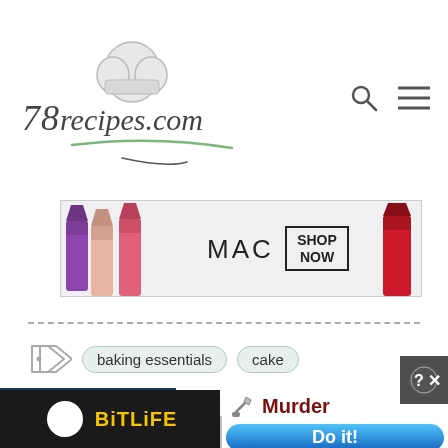[Figure (logo): 78recipes.com logo with chef hat and decorative script text, with search and menu icons on the right]
[Figure (photo): MAC Cosmetics advertisement banner showing colourful lipsticks on the left and right with MAC logo and SHOP NOW button in center]
baking essentials   cake
[Figure (screenshot): Website content preview area with light cream background and partial circular icon]
[Figure (infographic): Infolinks overlay bar and two bottom advertisement banners: BitLife game ad on left and a Murder game ad on right with Do it! button]